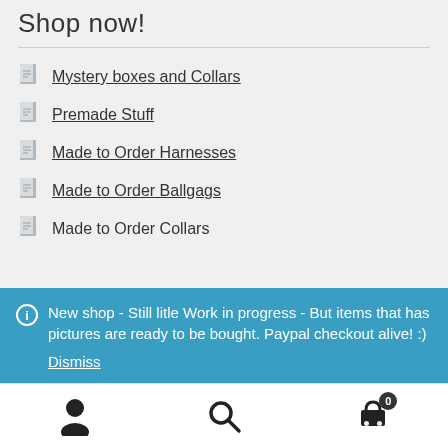Shop now!
Mystery boxes and Collars
Premade Stuff
Made to Order Harnesses
Made to Order Ballgags
Made to Order Collars
New shop - Still litle Work in progress - But items that has pictures are ready to be bought. Paypal checkout alive! :)
Dismiss